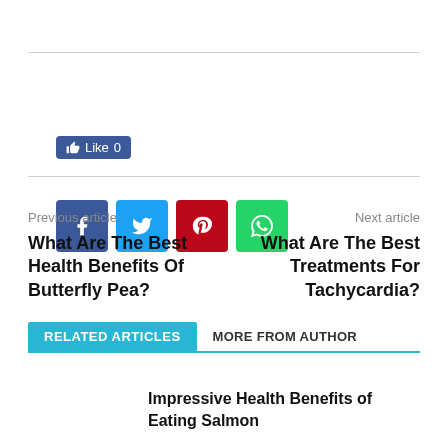[Figure (other): Facebook Like button showing count of 0]
[Figure (other): Row of social media share icons: Facebook (blue), Twitter (light blue), Pinterest (red), WhatsApp (green)]
Previous article
Next article
What Are The Best Health Benefits Of Butterfly Pea?
What Are The Best Treatments For Tachycardia?
RELATED ARTICLES    MORE FROM AUTHOR
Impressive Health Benefits of Eating Salmon